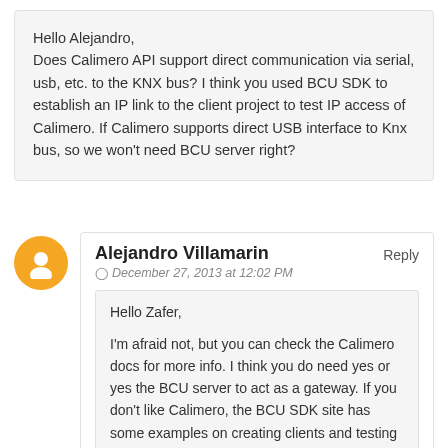Hello Alejandro, Does Calimero API support direct communication via serial, usb, etc. to the KNX bus? I think you used BCU SDK to establish an IP link to the client project to test IP access of Calimero. If Calimero supports direct USB interface to Knx bus, so we won't need BCU server right?
Alejandro Villamarin
Reply
December 27, 2013 at 12:02 PM
Hello Zafer,

I'm afraid not, but you can check the Calimero docs for more info. I think you do need yes or yes the BCU server to act as a gateway. If you don't like Calimero, the BCU SDK site has some examples on creating clients and testing the server too.

Hope this helps,